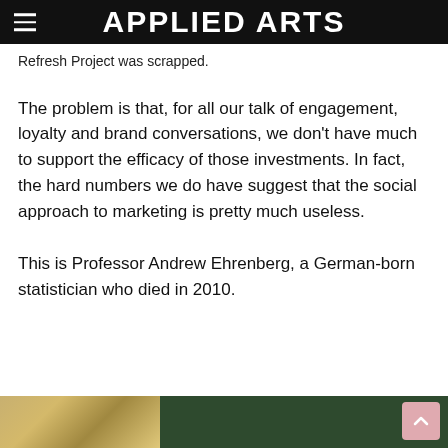APPLIED ARTS
Refresh Project was scrapped.
The problem is that, for all our talk of engagement, loyalty and brand conversations, we don't have much to support the efficacy of those investments. In fact, the hard numbers we do have suggest that the social approach to marketing is pretty much useless.
This is Professor Andrew Ehrenberg, a German-born statistician who died in 2010.
[Figure (photo): Bottom portion of a photograph showing what appears to be a framed portrait or painting — warm golden/yellowish tones on the left and dark green tones on the right.]